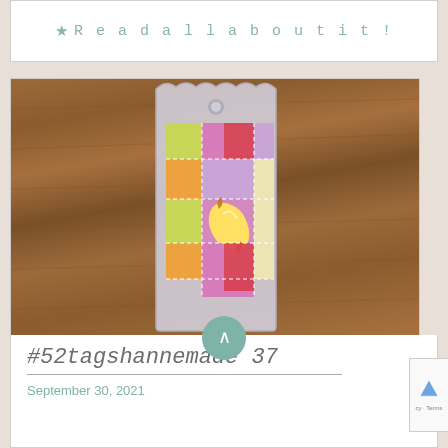★ Read all about it!
[Figure (photo): A handmade fabric tag with colorful woven/wicker-style patchwork in yellow, orange, pink/magenta, red, and lavender squares. A decorative banana illustration sticker is on the center. The tag is placed on a wooden surface.]
#52tagshannemade 37
September 30, 2021